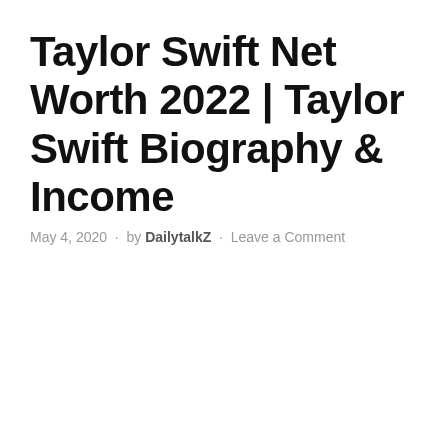Taylor Swift Net Worth 2022 | Taylor Swift Biography & Income
May 4, 2020 · by DailytalkZ · Leave a Comment